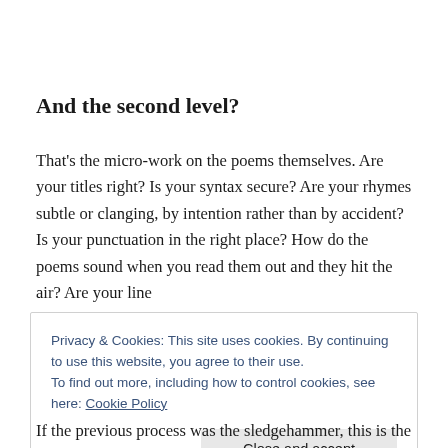And the second level?
That's the micro-work on the poems themselves. Are your titles right? Is your syntax secure? Are your rhymes subtle or clanging, by intention rather than by accident? Is your punctuation in the right place? How do the poems sound when you read them out and they hit the air? Are your line
Privacy & Cookies: This site uses cookies. By continuing to use this website, you agree to their use.
To find out more, including how to control cookies, see here: Cookie Policy
Close and accept
If the previous process was the sledgehammer, this is the